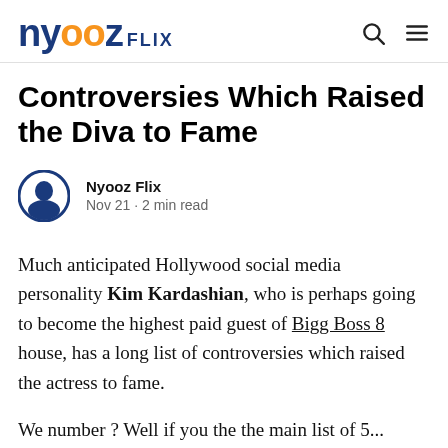NYOOZ FLIX
Controversies Which Raised the Diva to Fame
Nyooz Flix
Nov 21 · 2 min read
Much anticipated Hollywood social media personality Kim Kardashian, who is perhaps going to become the highest paid guest of Bigg Boss 8 house, has a long list of controversies which raised the actress to fame.
We number ? Well if you the the main list of 5...